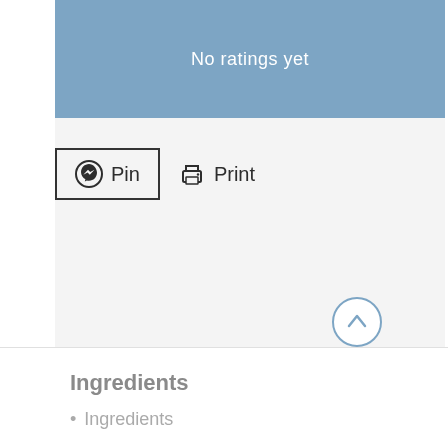No ratings yet
[Figure (screenshot): Pin and Print buttons on a light gray background. Pin button has a Pinterest logo icon and is outlined with a border. Print button has a printer icon. A circular scroll-up arrow button is shown at the bottom right of the content area.]
Ingredients
Ingredients